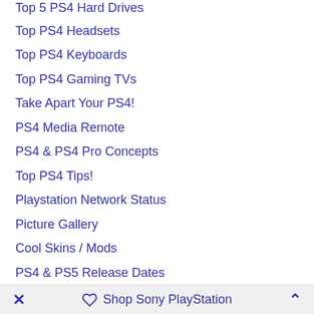Top 5 PS4 Hard Drives
Top PS4 Headsets
Top PS4 Keyboards
Top PS4 Gaming TVs
Take Apart Your PS4!
PS4 Media Remote
PS4 & PS4 Pro Concepts
Top PS4 Tips!
Playstation Network Status
Picture Gallery
Cool Skins / Mods
PS4 & PS5 Release Dates
PS4 Specs
PS4 Controller
PS4 Price
Playstation 4 Videos
Game Series
Shop Sony PlayStation